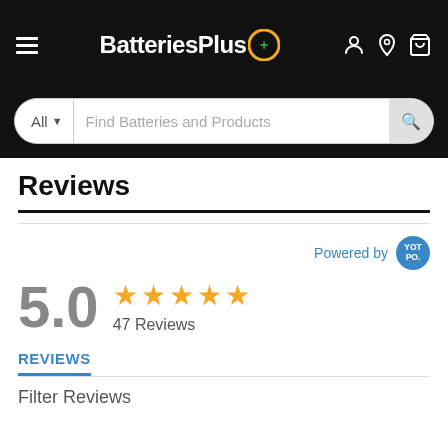BatteriesPlus — navigation header with hamburger menu, logo, user/location/cart icons
All  Find Batteries and Products
Reviews
Powered by YOTPO
5.0 ★★★★★ 47 Reviews
REVIEWS
Filter Reviews